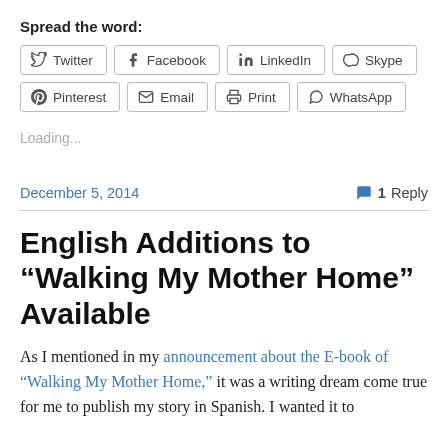Spread the word:
Twitter | Facebook | LinkedIn | Skype | Pinterest | Email | Print | WhatsApp
Loading...
December 5, 2014   1 Reply
English Additions to “Walking My Mother Home” Available
As I mentioned in my announcement about the E-book of “Walking My Mother Home,” it was a writing dream come true for me to publish my story in Spanish. I wanted it to